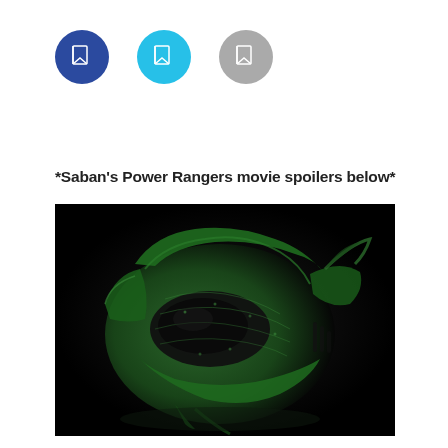[Figure (illustration): Three social media icon circles: a dark navy blue circle with a small white bookmark/page icon, a cyan/light blue circle with a small white bookmark/page icon, and a light gray circle with a small white bookmark/page icon]
*Saban’s Power Rangers movie spoilers below*
[Figure (photo): A dark atmospheric photo of a green and black dragon-themed helmet or mask, resembling the Green Ranger's Dragonzord helmet from the Power Rangers movie, with intricate reptilian scale textures and wing-like protrusions, set against a nearly black background]